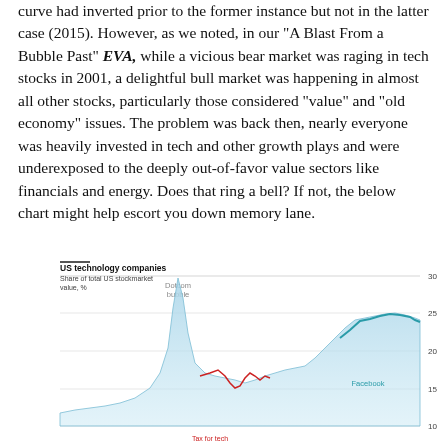curve had inverted prior to the former instance but not in the latter case (2015). However, as we noted, in our "A Blast From a Bubble Past" EVA, while a vicious bear market was raging in tech stocks in 2001, a delightful bull market was happening in almost all other stocks, particularly those considered “value” and “old economy” issues. The problem was back then, nearly everyone was heavily invested in tech and other growth plays and were underexposed to the deeply out-of-favor value sectors like financials and energy. Does that ring a bell? If not, the below chart might help escort you down memory lane.
[Figure (area-chart): Area chart showing US technology companies share of total US stockmarket value (%). Features a large spike labeled 'Dotcom bubble' around 2000 reaching ~30%, then declining, and a recent rise to ~25% labeled 'Facebook' area. A red line for 'Tax for tech' is also visible.]